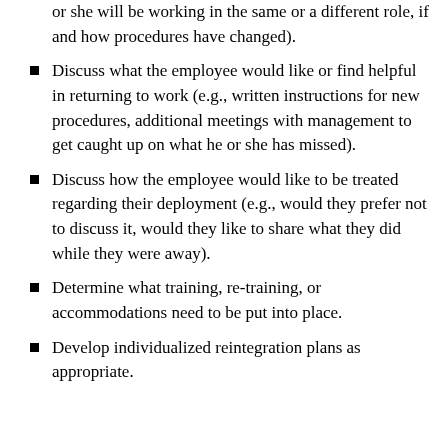…or she will be working in the same or a different role, if and how procedures have changed).
Discuss what the employee would like or find helpful in returning to work (e.g., written instructions for new procedures, additional meetings with management to get caught up on what he or she has missed).
Discuss how the employee would like to be treated regarding their deployment (e.g., would they prefer not to discuss it, would they like to share what they did while they were away).
Determine what training, re-training, or accommodations need to be put into place.
Develop individualized reintegration plans as appropriate.